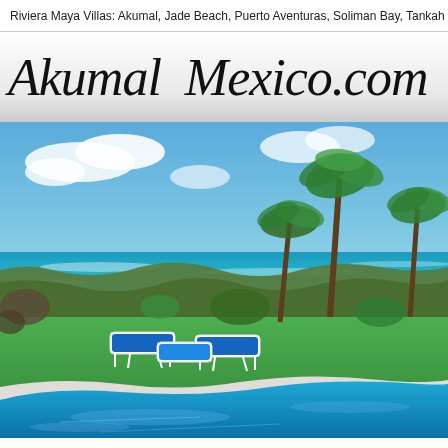Riviera Maya Villas: Akumal, Jade Beach, Puerto Aventuras, Soliman Bay, Tankah
Akumal Mexico.com
[Figure (photo): A tropical beach resort scene with a bright blue swimming pool in the foreground, two blue lounge chairs on green grass, palm trees, and the turquoise Caribbean Sea in the background under a partly cloudy sky.]